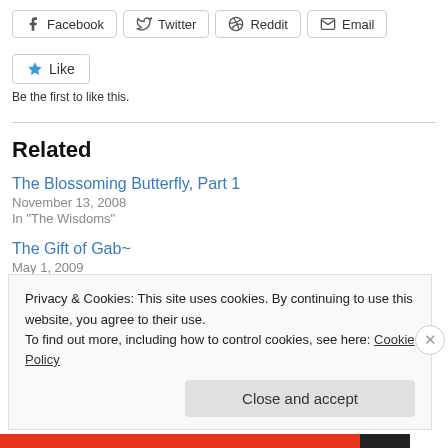[Figure (other): Social share buttons: Facebook, Twitter, Reddit, Email]
[Figure (other): Like button with star icon]
Be the first to like this.
Related
The Blossoming Butterfly, Part 1
November 13, 2008
In "The Wisdoms"
The Gift of Gab~
May 1, 2009
Privacy & Cookies: This site uses cookies. By continuing to use this website, you agree to their use.
To find out more, including how to control cookies, see here: Cookie Policy